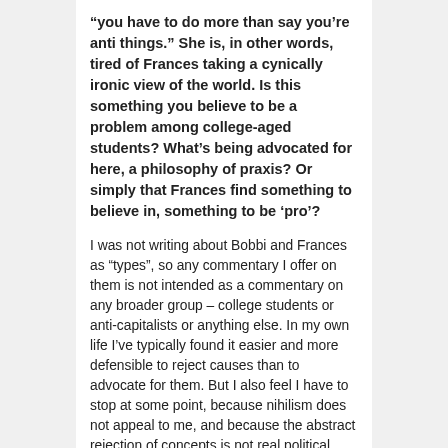“you have to do more than say you’re anti things.” She is, in other words, tired of Frances taking a cynically ironic view of the world. Is this something you believe to be a problem among college-aged students? What’s being advocated for here, a philosophy of praxis? Or simply that Frances find something to believe in, something to be ‘pro’?
I was not writing about Bobbi and Frances as “types”, so any commentary I offer on them is not intended as a commentary on any broader group – college students or anti-capitalists or anything else. In my own life I’ve typically found it easier and more defensible to reject causes than to advocate for them. But I also feel I have to stop at some point, because nihilism does not appeal to me, and because the abstract rejection of concepts is not real political work. Ultimately I’m just a novelist, I don’t claim to have a very advanced understanding of socialist theory or anything. But I...